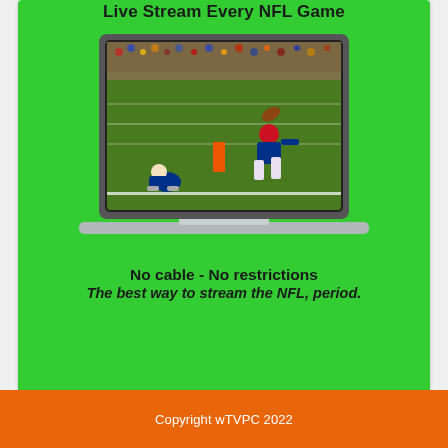Live Stream Every NFL Game
[Figure (illustration): A laptop computer displaying an NFL football game — a New York Giants player leaping over a Dallas Cowboys player near the end zone, shown on the laptop screen. The laptop is set against a bright green background.]
No cable - No restrictions
The best way to stream the NFL, period.
Copyright wTVPC 2022